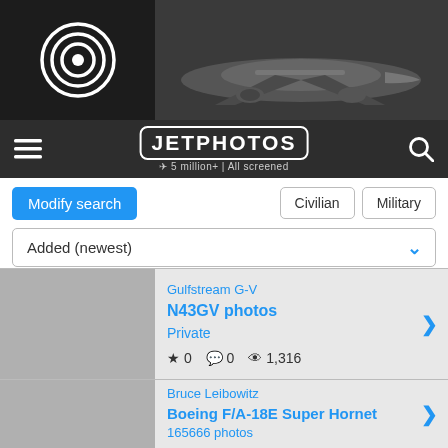[Figure (screenshot): JetPhotos website screenshot showing top banner with airplane photo and logo, navigation bar, search controls, and two photo listing entries]
JETPHOTOS — 5 million+ | All screened
Modify search | Civilian | Military
Added (newest)
Gulfstream G-V
N43GV photos
Private
★ 0  💬 0  👁 1,316
Bruce Leibowitz
Boeing F/A-18E Super Hornet
165666 photos
United States - US Navy (USN)
★ 9  💬 0  👁 1,770